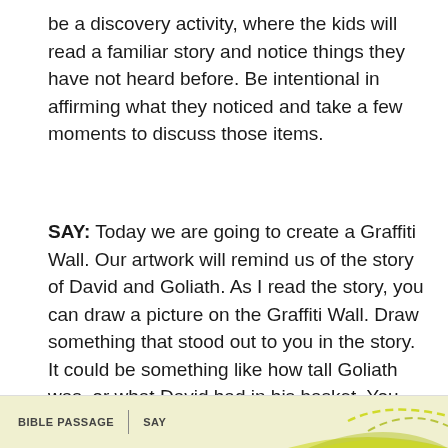be a discovery activity, where the kids will read a familiar story and notice things they have not heard before. Be intentional in affirming what they noticed and take a few moments to discuss those items.
SAY: Today we are going to create a Graffiti Wall. Our artwork will remind us of the story of David and Goliath. As I read the story, you can draw a picture on the Graffiti Wall. Draw something that stood out to you in the story. It could be something like how tall Goliath was, or what David had in his basket. You can start drawing once I finish reading each Bible passage.
BIBLE PASSAGE | SAY